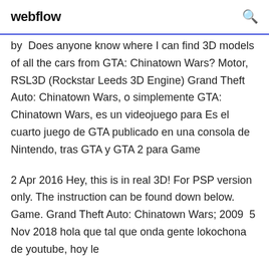webflow
by  Does anyone know where I can find 3D models of all the cars from GTA: Chinatown Wars? Motor, RSL3D (Rockstar Leeds 3D Engine) Grand Theft Auto: Chinatown Wars, o simplemente GTA: Chinatown Wars, es un videojuego para Es el cuarto juego de GTA publicado en una consola de Nintendo, tras GTA y GTA 2 para Game
2 Apr 2016 Hey, this is in real 3D! For PSP version only. The instruction can be found down below. Game. Grand Theft Auto: Chinatown Wars; 2009  5 Nov 2018 hola que tal que onda gente lokochona de youtube, hoy le